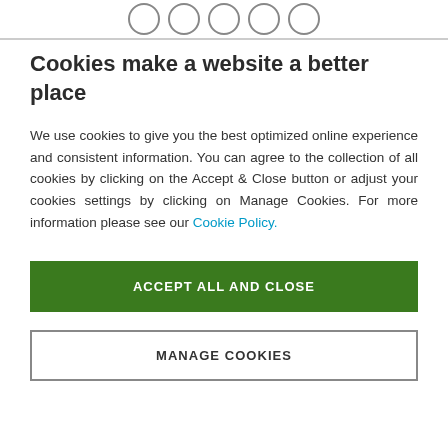[Figure (other): Row of five circular icon buttons at top of page]
Cookies make a website a better place
We use cookies to give you the best optimized online experience and consistent information. You can agree to the collection of all cookies by clicking on the Accept & Close button or adjust your cookies settings by clicking on Manage Cookies. For more information please see our Cookie Policy.
ACCEPT ALL AND CLOSE
MANAGE COOKIES